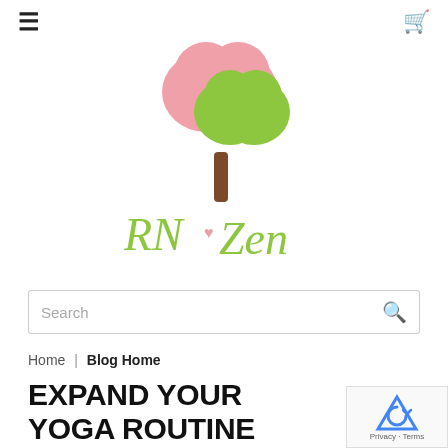≡  [cart icon]
[Figure (logo): RN to Zen logo with two heart-shaped trees (pink and green) above the text 'RN to Zen' in green handwritten style font with a small pink heart between RN and Zen]
Search
Home | Blog Home
EXPAND YOUR YOGA ROUTINE WITH THESE YOGA PROPS